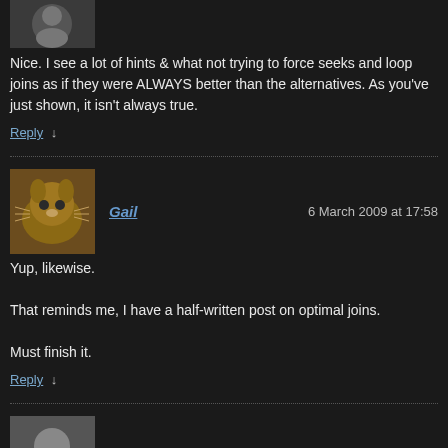[Figure (photo): Small user avatar photo at top, partially visible]
Nice. I see a lot of hints & what not trying to force seeks and loop joins as if they were ALWAYS better than the alternatives. As you've just shown, it isn't always true.
Reply ↓
Gail — 6 March 2009 at 17:58
[Figure (photo): User avatar showing a cat photo]
Yup, likewise.

That reminds me, I have a half-written post on optimal joins.

Must finish it.
Reply ↓
Julian — 9 March 2009 at 12:37
[Figure (photo): User avatar showing a generic person silhouette icon]
Hi Gail Shaw

Is this test done on SQL 2000 or SQl 2005